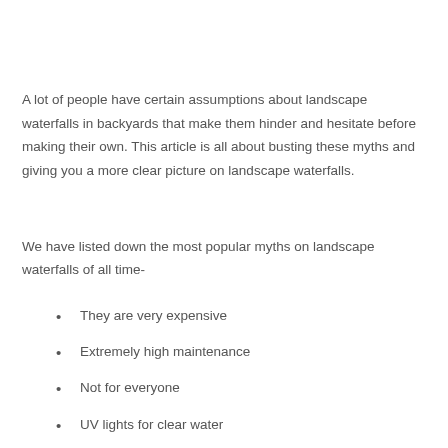A lot of people have certain assumptions about landscape waterfalls in backyards that make them hinder and hesitate before making their own. This article is all about busting these myths and giving you a more clear picture on landscape waterfalls.
We have listed down the most popular myths on landscape waterfalls of all time-
They are very expensive
Extremely high maintenance
Not for everyone
UV lights for clear water